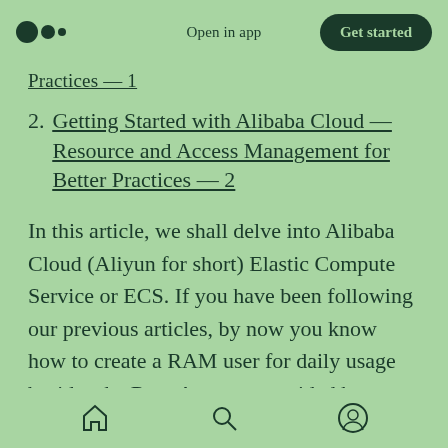Open in app | Get started
Practices — 1 (truncated/partial)
2. Getting Started with Alibaba Cloud — Resource and Access Management for Better Practices — 2
In this article, we shall delve into Alibaba Cloud (Aliyun for short) Elastic Compute Service or ECS. If you have been following our previous articles, by now you know how to create a RAM user for daily usage besides the Root Account provided by Aliyun. It is recommended that you use that User for this and future tutorials as well. Make sure...
Home | Search | Profile